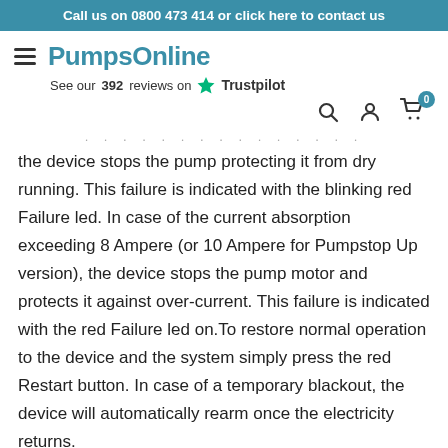Call us on 0800 473 414 or click here to contact us
[Figure (logo): PumpsOnline logo with hamburger menu icon and Trustpilot rating showing 392 reviews, plus search, account, and cart icons]
the device stops the pump protecting it from dry running. This failure is indicated with the blinking red Failure led. In case of the current absorption exceeding 8 Ampere (or 10 Ampere for Pumpstop Up version), the device stops the pump motor and protects it against over-current. This failure is indicated with the red Failure led on.To restore normal operation to the device and the system simply press the red Restart button. In case of a temporary blackout, the device will automatically rearm once the electricity returns.